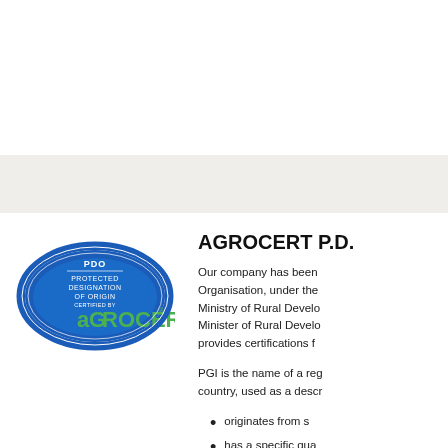[Figure (logo): AGROCERT PDO certified logo — blue oval with white text 'PDO PROTECTED DESIGNATION OF ORIGIN' and green AGROCERT wordmark]
AGROCERT P.D.
Our company has been Organisation, under the Ministry of Rural Develo Minister of Rural Develo provides certifications f
PGI is the name of a reg country, used as a descr
originates from s
has a specific qua